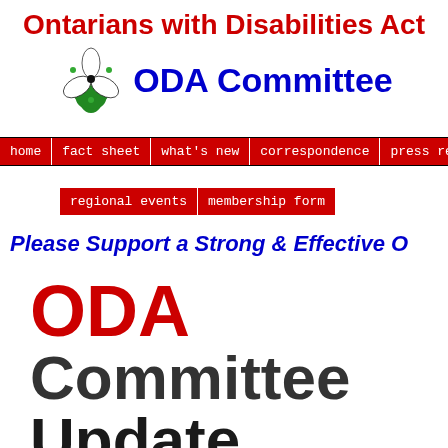Ontarians with Disabilities Act ODA Committee
[Figure (logo): ODA Committee trillium flower logo — stylized white trillium with green leaves and black center on white background]
home | fact sheet | what's new | correspondence | press releases
regional events | membership form
Please Support a Strong & Effective O...
ODA Committee Update